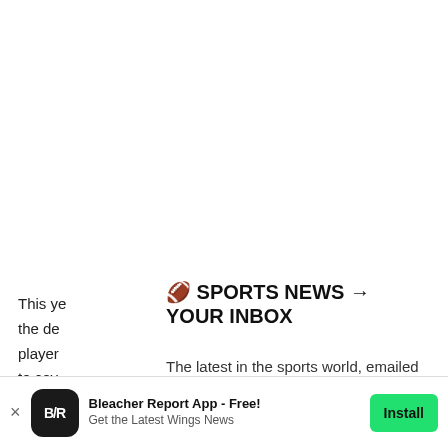This ye the de player to cov
A stron build s they le
Brend
[Figure (screenshot): Newsletter signup modal overlay with title '🏈 SPORTS NEWS → YOUR INBOX', subtitle 'The latest in the sports world, emailed daily.', a green 'Join Newsletter' button, and 'Maybe Later' link]
[Figure (screenshot): App install banner at bottom: Bleacher Report App - Free! Get the Latest Wings News, with Install button]